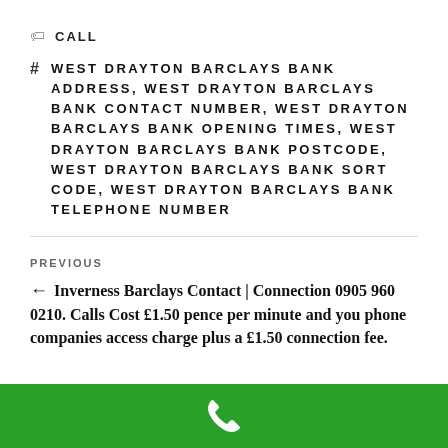CALL
WEST DRAYTON BARCLAYS BANK ADDRESS, WEST DRAYTON BARCLAYS BANK CONTACT NUMBER, WEST DRAYTON BARCLAYS BANK OPENING TIMES, WEST DRAYTON BARCLAYS BANK POSTCODE, WEST DRAYTON BARCLAYS BANK SORT CODE, WEST DRAYTON BARCLAYS BANK TELEPHONE NUMBER
PREVIOUS
← Inverness Barclays Contact | Connection 0905 960 0210. Calls Cost £1.50 pence per minute and you phone companies access charge plus a £1.50 connection fee.
[Figure (other): Green footer bar with white phone handset icon]